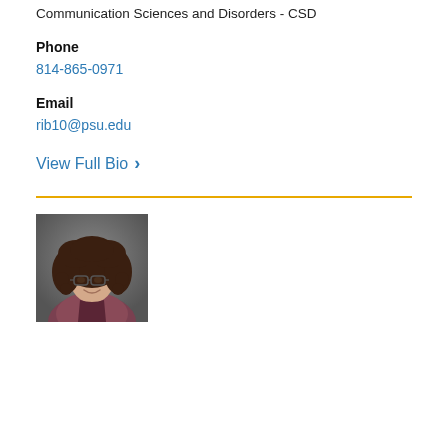Communication Sciences and Disorders - CSD
Phone
814-865-0971
Email
rib10@psu.edu
View Full Bio >
[Figure (photo): Professional headshot of a woman with curly brown hair wearing glasses and a patterned jacket, against a gray background.]